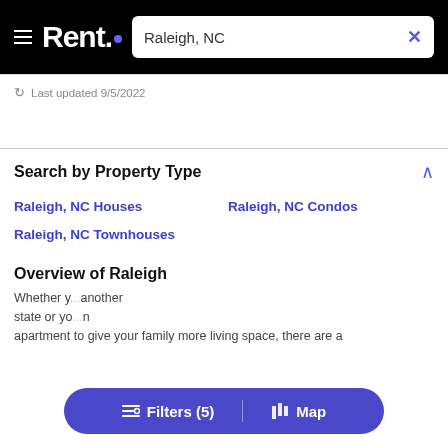Rent. — Raleigh, NC
Last updated 9/5/2022
Search by Property Type
Raleigh, NC Houses
Raleigh, NC Condos
Raleigh, NC Townhouses
Overview of Raleigh
Whether y... another state or yo... n apartment to give your family more living space, there are a